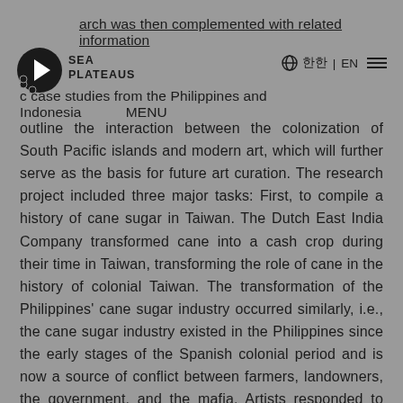arch was then complemented with related information
SEA PLATEAUS | ⊕ 한 | EN MENU
c case studies from the Philippines and Indonesia
outline the interaction between the colonization of South Pacific islands and modern art, which will further serve as the basis for future art curation. The research project included three major tasks: First, to compile a history of cane sugar in Taiwan. The Dutch East India Company transformed cane into a cash crop during their time in Taiwan, transforming the role of cane in the history of colonial Taiwan. The transformation of the Philippines' cane sugar industry occurred similarly, i.e., the cane sugar industry existed in the Philippines since the early stages of the Spanish colonial period and is now a source of conflict between farmers, landowners, the government, and the mafia. Artists responded to related topics in interviews by co-curator Tsai Ming-jun for the Mattauw Earth festival and the continuing discussion held by artist Nho Shin Wei.